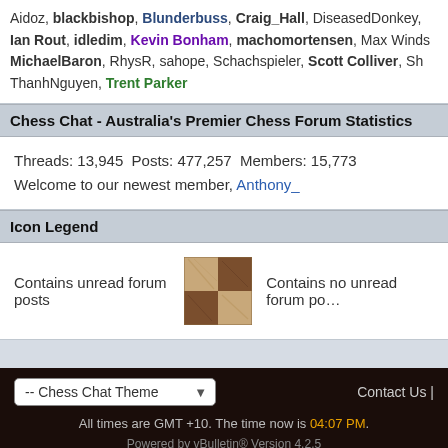Aidoz, blackbishop, Blunderbuss, Craig_Hall, DiseasedDonkey, Ian Rout, idledim, Kevin Bonham, machomortensen, Max Winds, MichaelBaron, RhysR, sahope, Schachspieler, Scott Colliver, Sh, ThanhNguyen, Trent Parker
Chess Chat - Australia's Premier Chess Forum Statistics
Threads: 13,945  Posts: 477,257  Members: 15,773
Welcome to our newest member, Anthony_
Icon Legend
Contains unread forum posts  [chess icon]  Contains no unread forum posts
All times are GMT +10. The time now is 04:07 PM.
Powered by vBulletin® Version 4.2.5 Copyright © 2022 vBulletin Solutions Inc. All rights reserved.